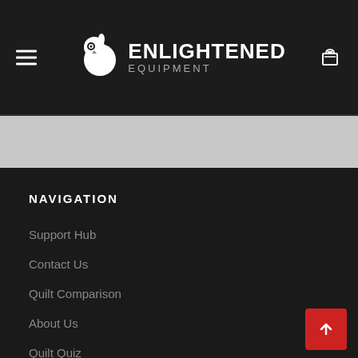[Figure (logo): Enlightened Equipment logo with owl icon, white text ENLIGHTENED in bold and EQUIPMENT in grey below]
NAVIGATION
Support Hub
Contact Us
Quilt Comparison
About Us
Quilt Quiz
Join Our Team